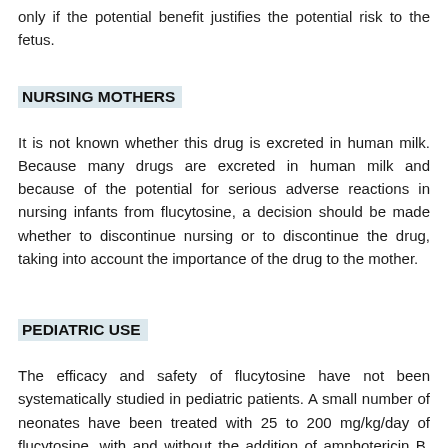only if the potential benefit justifies the potential risk to the fetus.
NURSING MOTHERS
It is not known whether this drug is excreted in human milk. Because many drugs are excreted in human milk and because of the potential for serious adverse reactions in nursing infants from flucytosine, a decision should be made whether to discontinue nursing or to discontinue the drug, taking into account the importance of the drug to the mother.
PEDIATRIC USE
The efficacy and safety of flucytosine have not been systematically studied in pediatric patients. A small number of neonates have been treated with 25 to 200 mg/kg/day of flucytosine, with and without the addition of amphotericin B, for systemic candidiasis. No unexpected adverse reactions were reported in these patients. It should be noted, however, that hypokalamic